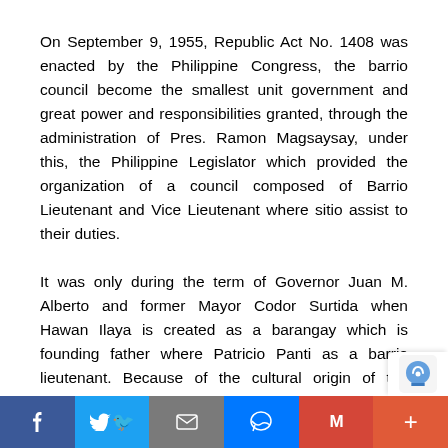On September 9, 1955, Republic Act No. 1408 was enacted by the Philippine Congress, the barrio council become the smallest unit government and great power and responsibilities granted, through the administration of Pres. Ramon Magsaysay, under this, the Philippine Legislator which provided the organization of a council composed of Barrio Lieutenant and Vice Lieutenant where sitio assist to their duties.
It was only during the term of Governor Juan M. Alberto and former Mayor Codor Surtida when Hawan Ilaya is created as a barangay which is founding father where Patricio Panti as a barrio lieutenant. Because of the cultural origin of the barangay on the religious tradition where passed to generation to generation, he cons
Social share bar: Facebook, Twitter, Email, Messenger, Gmail, Plus